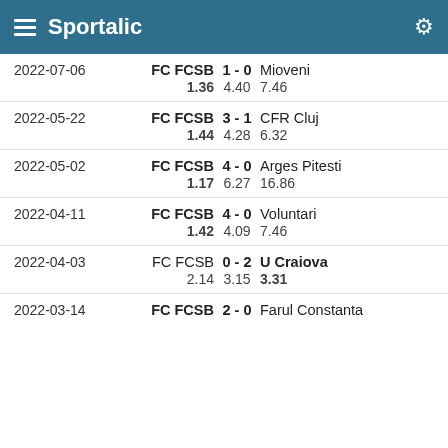Sportalic
| Date | Home | Score | Away | Odds Home | Odds Draw | Odds Away |
| --- | --- | --- | --- | --- | --- | --- |
| 2022-07-06 | FC FCSB | 1 - 0 | Mioveni | 1.36 | 4.40 | 7.46 |
| 2022-05-22 | FC FCSB | 3 - 1 | CFR Cluj | 1.44 | 4.28 | 6.32 |
| 2022-05-02 | FC FCSB | 4 - 0 | Arges Pitesti | 1.17 | 6.27 | 16.86 |
| 2022-04-11 | FC FCSB | 4 - 0 | Voluntari | 1.42 | 4.09 | 7.46 |
| 2022-04-03 | FC FCSB | 0 - 2 | U Craiova | 2.14 | 3.15 | 3.31 |
| 2022-03-14 | FC FCSB | 2 - 0 | Farul Constanta |  |  |  |